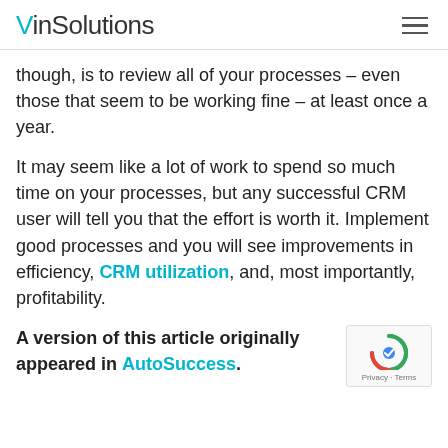VinSolutions
though, is to review all of your processes – even those that seem to be working fine – at least once a year.
It may seem like a lot of work to spend so much time on your processes, but any successful CRM user will tell you that the effort is worth it. Implement good processes and you will see improvements in efficiency, CRM utilization, and, most importantly, profitability.
A version of this article originally appeared in AutoSuccess.